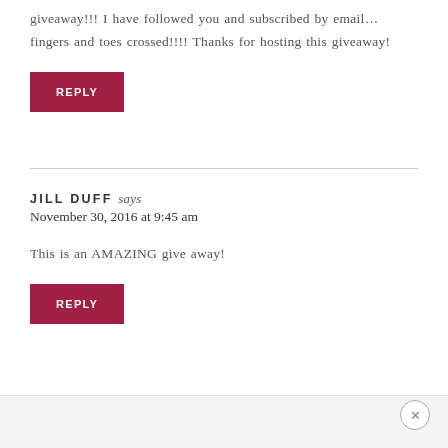giveaway!!! I have followed you and subscribed by email… fingers and toes crossed!!!! Thanks for hosting this giveaway!
REPLY
JILL DUFF says
November 30, 2016 at 9:45 am
This is an AMAZING give away!
REPLY